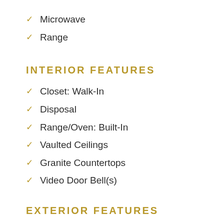Microwave
Range
INTERIOR FEATURES
Closet: Walk-In
Disposal
Range/Oven: Built-In
Vaulted Ceilings
Granite Countertops
Video Door Bell(s)
EXTERIOR FEATURES